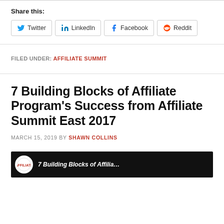Share this:
Twitter  LinkedIn  Facebook  Reddit
FILED UNDER: AFFILIATE SUMMIT
7 Building Blocks of Affiliate Program's Success from Affiliate Summit East 2017
MARCH 15, 2019 BY SHAWN COLLINS
[Figure (other): Thumbnail image for article about 7 Building Blocks of Affiliate Program's Success, showing Affiliate Summit logo on black background]